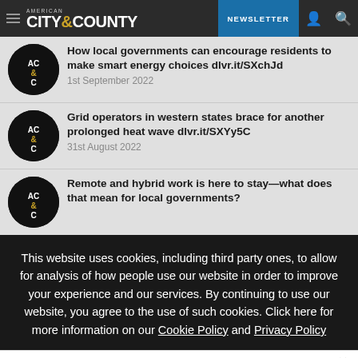American City & County | NEWSLETTER
How local governments can encourage residents to make smart energy choices dlvr.it/SXchJd
1st September 2022
Grid operators in western states brace for another prolonged heat wave dlvr.it/SXYy5C
31st August 2022
Remote and hybrid work is here to stay—what does that mean for local governments?
This website uses cookies, including third party ones, to allow for analysis of how people use our website in order to improve your experience and our services. By continuing to use our website, you agree to the use of such cookies. Click here for more information on our Cookie Policy and Privacy Policy
Accept and Close ✕
Your browser settings do not allow cross-site tracking for advertising. Click on this page to allow AdRoll to use cross-site tracking to tailor ads to you. Learn more or opt out of this AdRoll tracking by clicking here. This message only appears once.